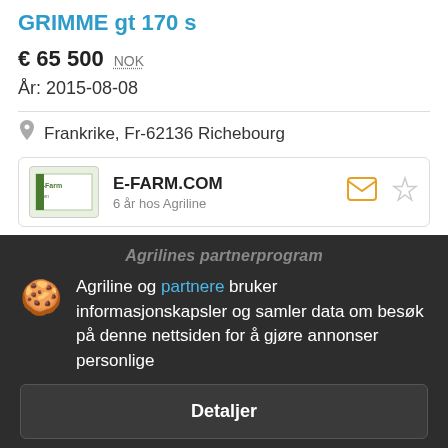GRIMME gt 170 s
€ 65 500  NOK
År: 2015-08-08
Frankrike, Fr-62136 Richebourg
E-FARM.COM
6 år hos Agriline
Agrilines partnerprogram
Agriline og partnere bruker informasjonskapsler og samler data om besøk på denne nettsiden for å gjøre annonser personlige
Detaljer
Godta og lukk
Neste